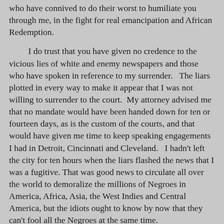who have connived to do their worst to humiliate you through me, in the fight for real emancipation and African Redemption.
I do trust that you have given no credence to the vicious lies of white and enemy newspapers and those who have spoken in reference to my surrender.   The liars plotted in every way to make it appear that I was not willing to surrender to the court.  My attorney advised me that no mandate would have been handed down for ten or fourteen days, as is the custom of the courts, and that would have given me time to keep speaking engagements I had in Detroit, Cincinnati and Cleveland.   I hadn't left the city for ten hours when the liars flashed the news that I was a fugitive.  That was good news to circulate all over the world to demoralize the millions of Negroes in America, Africa, Asia, the West Indies and Central America, but the idiots ought to know by now that they can't fool all the Negroes at the same time.
I do not want at this time to write anything that would make it difficult for you to meet the opposition of the enemy without my assistance.  Suffice it to say that the history of the outrage shall form a splendid chapter in the history of Africa redeemed, when black men will no longer be under the heels of others, but have a civilization and country of their own.
The whole affair is a disgrace, and the whole black world knows it.  We shall not forget.  Our day may be fifty, a hundred or two